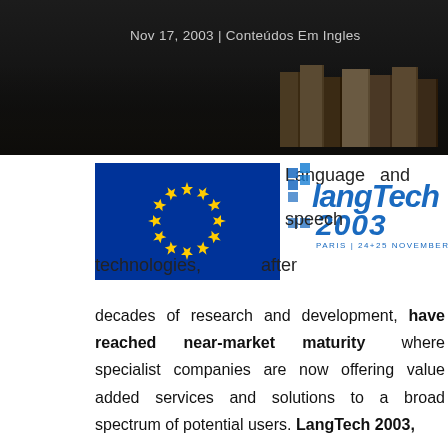Nov 17, 2003 | Conteúdos Em Ingles
[Figure (illustration): EU flag (blue background with yellow stars) on the left and LangTech 2003 logo (Paris | 24+25 November) on the right, with text 'Language and speech technologies, after' overlaid]
decades of research and development, have reached near-market maturity where specialist companies are now offering value added services and solutions to a broad spectrum of potential users. LangTech 2003,